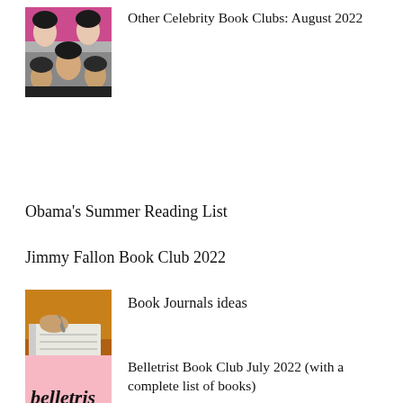[Figure (photo): Group of female celebrities in black and white]
Other Celebrity Book Clubs: August 2022
Obama's Summer Reading List
Jimmy Fallon Book Club 2022
[Figure (photo): Person writing in a journal on a wooden table]
Book Journals ideas
[Figure (logo): Belletrist logo on pink background]
Belletrist Book Club July 2022 (with a complete list of books)